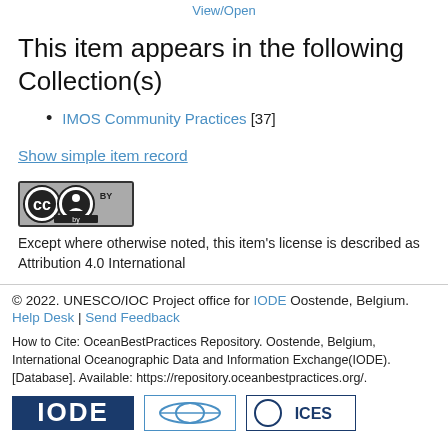View/Open
This item appears in the following Collection(s)
IMOS Community Practices [37]
Show simple item record
[Figure (logo): Creative Commons Attribution (CC BY) license badge]
Except where otherwise noted, this item's license is described as Attribution 4.0 International
© 2022. UNESCO/IOC Project office for IODE Oostende, Belgium. Help Desk | Send Feedback

How to Cite: OceanBestPractices Repository. Oostende, Belgium, International Oceanographic Data and Information Exchange(IODE). [Database]. Available: https://repository.oceanbestpractices.org/.